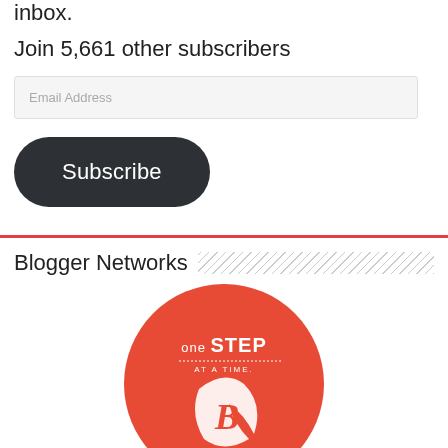inbox.
Join 5,661 other subscribers
Email Address
Subscribe
Blogger Networks
[Figure (logo): One Step at a Time blogger network circular logo in orange/red with a 'B' emblem and text 'Take your blog to the next level']